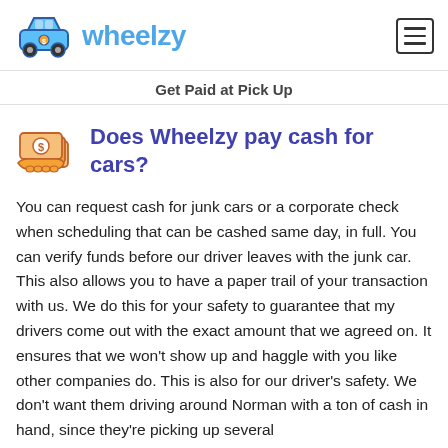wheelzy
Get Paid at Pick Up
Does Wheelzy pay cash for cars?
You can request cash for junk cars or a corporate check when scheduling that can be cashed same day, in full. You can verify funds before our driver leaves with the junk car. This also allows you to have a paper trail of your transaction with us. We do this for your safety to guarantee that my drivers come out with the exact amount that we agreed on. It ensures that we won't show up and haggle with you like other companies do. This is also for our driver's safety. We don't want them driving around Norman with a ton of cash in hand, since they're picking up several